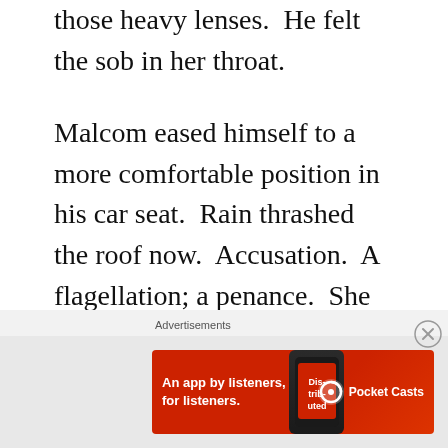those heavy lenses.  He felt the sob in her throat.

Malcom eased himself to a more comfortable position in his car seat.  Rain thrashed the roof now.  Accusation.  A flagellation; a penance.  She was right, of course.  He never wrote to her, even when the nights were their longest and his loneliness at its most intense.  Oh, how fresh were the images in his mind – of that look, of those tears!  In all the time he had known her, she had been unable to give herself entirely to him.  Only when it was too late had those magic words
[Figure (other): Advertisement banner for Pocket Casts app: red background, text 'An app by listeners, for listeners.' with Pocket Casts logo and a phone showing the app.]